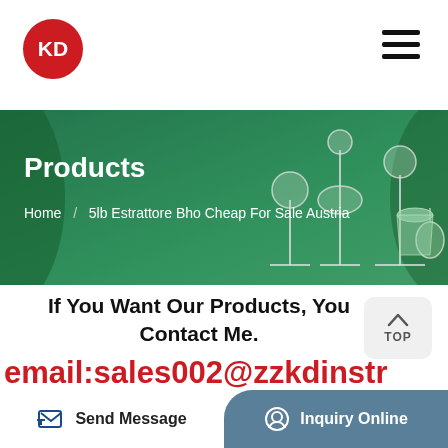[Figure (logo): KD logo: red circle with white KD letters]
[Figure (illustration): Hamburger/menu icon with three horizontal lines]
[Figure (photo): Hero banner with green background showing lab equipment (rotary evaporators, glassware) and cannabis leaves]
Products
Home / 5lb Estrattore Bho Cheap For Sale Austria
If You Want Our Products, You Contact Me.
email:sales002@zzkdinstr
[Figure (photo): Lab equipment/product images at bottom of page with Popular badge]
Send Message
Inquiry Online